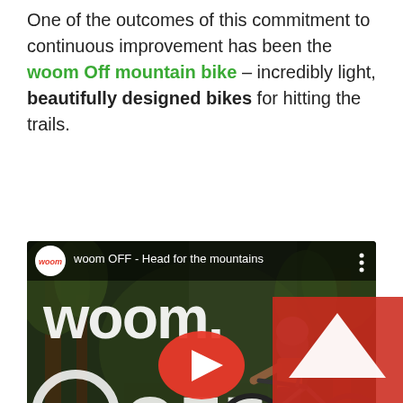One of the outcomes of this commitment to continuous improvement has been the woom Off mountain bike – incredibly light, beautifully designed bikes for hitting the trails.
[Figure (screenshot): YouTube video thumbnail for 'woom OFF - Head for the mountains' showing a cyclist riding a mountain bike on a forest trail, with large white 'woom.' and 'OFF' text overlaid and a red YouTube play button in the center.]
woom have also built up an impressive range of clothing and accessories. One of the more popular accessories we stock is the distinctive combination